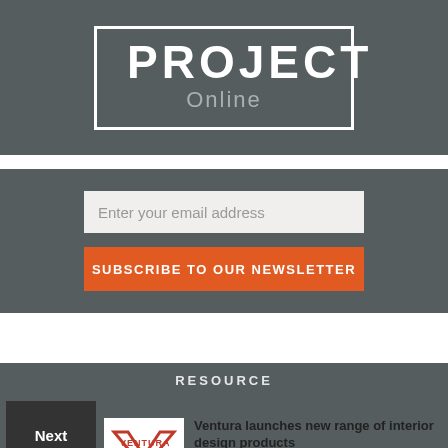[Figure (logo): PROJECT Online logo in white text inside a white border box on dark grey background]
Enter your email address
SUBSCRIBE TO OUR NEWSLETTER
RESOURCE
Next Articles
[Figure (logo): Ventura interior design logo — V chevron with VENTURA text]
Ventura launches new range of interior design products